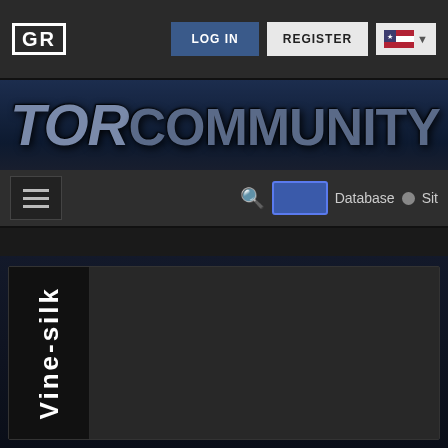GR | LOG IN | REGISTER
TORCommunity
[Figure (screenshot): Navigation bar with hamburger menu, search icon, toggle between Database and Site]
Vine-silk